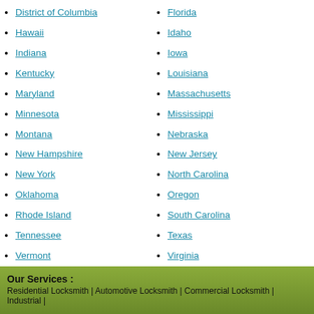District of Columbia
Florida
Hawaii
Idaho
Indiana
Iowa
Kentucky
Louisiana
Maryland
Massachusetts
Minnesota
Mississippi
Montana
Nebraska
New Hampshire
New Jersey
New York
North Carolina
Oklahoma
Oregon
Rhode Island
South Carolina
Tennessee
Texas
Vermont
Virginia
West Virginia
Wisconsin
Our Services :
Residential Locksmith | Automotive Locksmith | Commercial Locksmith | Industrial |